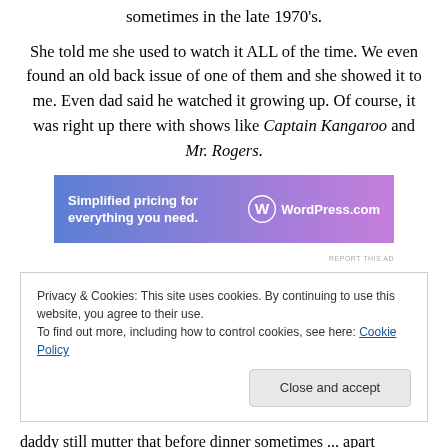sometimes in the late 1970's.
She told me she used to watch it ALL of the time. We even found an old back issue of one of them and she showed it to me. Even dad said he watched it growing up. Of course, it was right up there with shows like Captain Kangaroo and Mr. Rogers.
[Figure (other): WordPress.com advertisement banner: 'Simplified pricing for everything you need.']
Privacy & Cookies: This site uses cookies. By continuing to use this website, you agree to their use.
To find out more, including how to control cookies, see here: Cookie Policy
daddy still mutter that before dinner sometimes ... apart